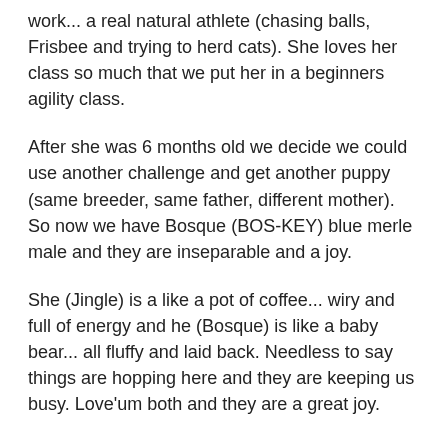work... a real natural athlete (chasing balls, Frisbee and trying to herd cats). She loves her class so much that we put her in a beginners agility class.
After she was 6 months old we decide we could use another challenge and get another puppy (same breeder, same father, different mother). So now we have Bosque (BOS-KEY) blue merle male and they are inseparable and a joy.
She (Jingle) is a like a pot of coffee... wiry and full of energy and he (Bosque) is like a baby bear... all fluffy and laid back. Needless to say things are hopping here and they are keeping us busy. Love'um both and they are a great joy.